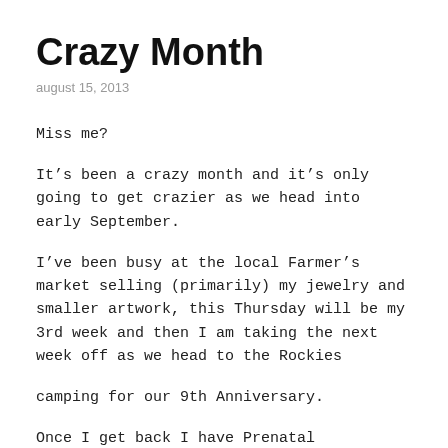Crazy Month
august 15, 2013
Miss me?
It’s been a crazy month and it’s only going to get crazier as we head into early September.
I’ve been busy at the local Farmer’s market selling (primarily) my jewelry and smaller artwork, this Thursday will be my 3rd week and then I am taking the next week off as we head to the Rockies
camping for our 9th Anniversary.
Once I get back I have Prenatal appointments, another week at the Market and then Munchkin and I fly to New Brunswick to visit family leaving hubby home to hold down the fort (our pets and home) during the...</